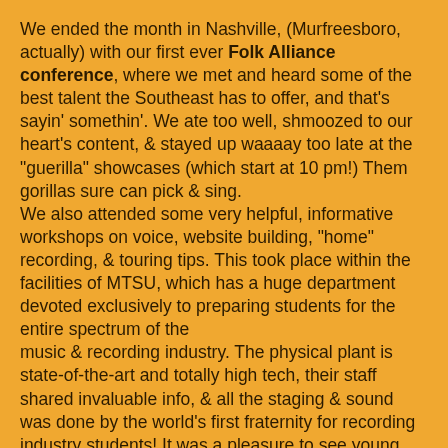We ended the month in Nashville, (Murfreesboro, actually) with our first ever Folk Alliance conference, where we met and heard some of the best talent the Southeast has to offer, and that's sayin' somethin'. We ate too well, shmoozed to our heart's content, & stayed up waaaay too late at the "guerilla" showcases (which start at 10 pm!) Them gorillas sure can pick & sing.
We also attended some very helpful, informative workshops on voice, website building, "home" recording, & touring tips. This took place within the facilities of MTSU, which has a huge department devoted exclusively to preparing students for the entire spectrum of the music & recording industry. The physical plant is state-of-the-art and totally high tech, their staff shared invaluable info, & all the staging & sound was done by the world's first fraternity for recording industry students! It was a pleasure to see young people hustling to make showcases run smoothly. (Also kind of a pleasure not to be the ones hustling!)
We're looking forward to next October's SERFA meet-up in Mt. Pleasant, Arkansas.
Time to start working on November...talk to ya soon!